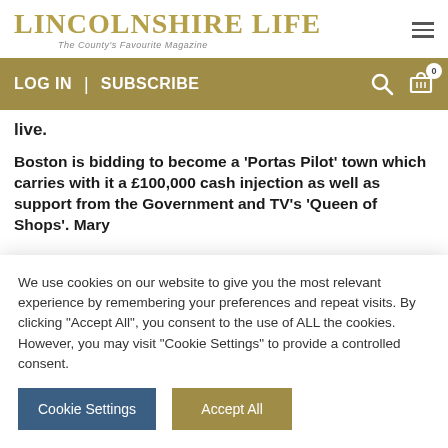LINCOLNSHIRE LIFE — The County's Favourite Magazine
LOG IN  |  SUBSCRIBE
live.
Boston is bidding to become a 'Portas Pilot' town which carries with it a £100,000 cash injection as well as support from the Government and TV's 'Queen of Shops'. Mary
We use cookies on our website to give you the most relevant experience by remembering your preferences and repeat visits. By clicking "Accept All", you consent to the use of ALL the cookies. However, you may visit "Cookie Settings" to provide a controlled consent.